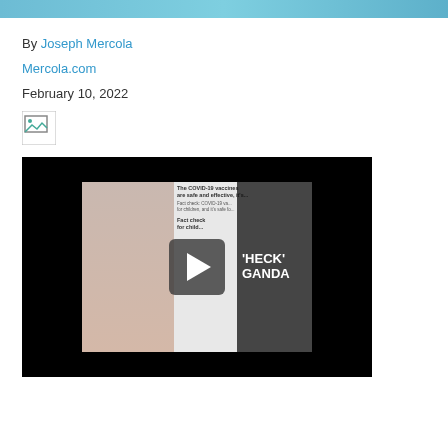[Figure (other): Top banner image with teal/blue gradient color]
By Joseph Mercola
Mercola.com
February 10, 2022
[Figure (other): Broken image icon placeholder]
[Figure (other): Video player with black background showing a woman and text 'HECK' 'GANDA' with a play button overlay]